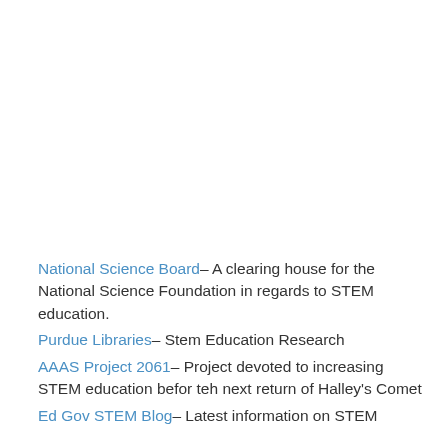National Science Board– A clearing house for the National Science Foundation in regards to STEM education.
Purdue Libraries– Stem Education Research
AAAS Project 2061– Project devoted to increasing STEM education befor teh next return of Halley's Comet
Ed Gov STEM Blog– Latest information on STEM